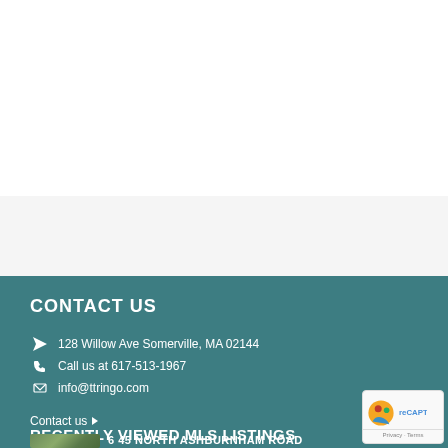CONTACT US
128 Willow Ave Somerville, MA 02144
Call us at 617-513-1967
info@ttringo.com
Contact us ▶
RECENTLY VIEWED MLS LISTINGS
6 45 NORTH ASHBURNHAM ROAD